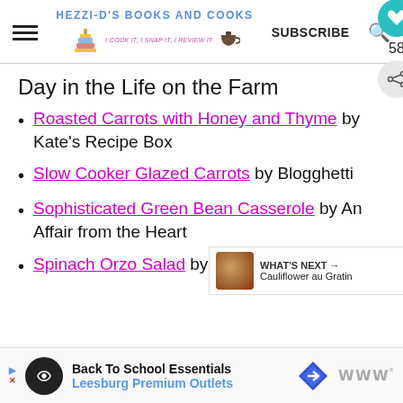HEZZI-D'S BOOKS AND COOKS — I COOK IT, I SNAP IT, I REVIEW IT | SUBSCRIBE
Day in the Life on the Farm
Roasted Carrots with Honey and Thyme by Kate's Recipe Box
Slow Cooker Glazed Carrots by Blogghetti
Sophisticated Green Bean Casserole by An Affair from the Heart
Spinach Orzo Salad by Shockingly…
Back To School Essentials Leesburg Premium Outlets